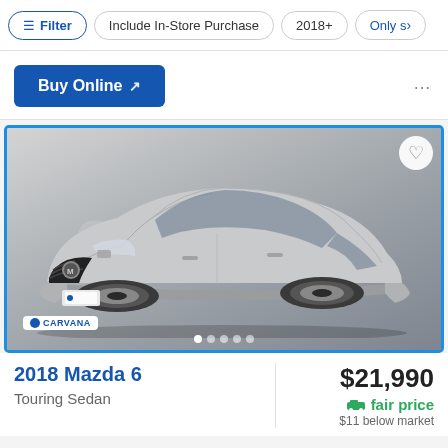Filter | Include In-Store Purchase | 2018+ | Only s>
Buy Online
[Figure (photo): Silver 2018 Mazda 6 Touring Sedan photographed in a studio against a grey background, front three-quarter view. CARVANA watermark overlaid. Blue border around image. Pagination dots visible at bottom. Heart/favorite icon top right.]
2018 Mazda 6
Touring Sedan
$21,990
fair price
$11 below market